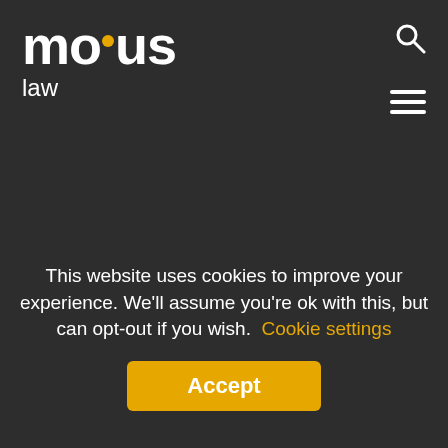movus law
way.
If you are unhappy about any aspect of the service you have received, or about the bill, please write to our Operations Manager, Sophia Davis, Steel House, Solent Business Park, Fareham, PO15 7FP or email sophia.davis@movuslaw.com Tel: 01329 245 546
This website uses cookies to improve your experience. We'll assume you're ok with this, but can opt-out if you wish. Cookie settings
Accept